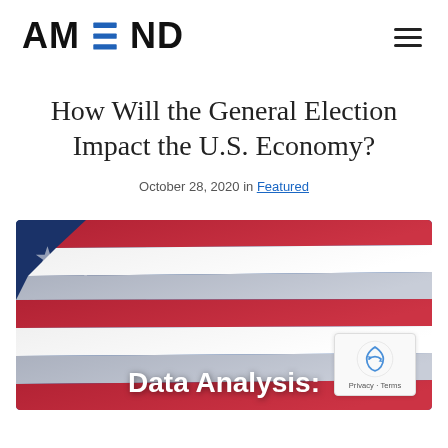AMEND
How Will the General Election Impact the U.S. Economy?
October 28, 2020 in Featured
[Figure (photo): American flag close-up photograph with red, white, and blue colors, overlaid with bold white text reading 'Data Analysis:']